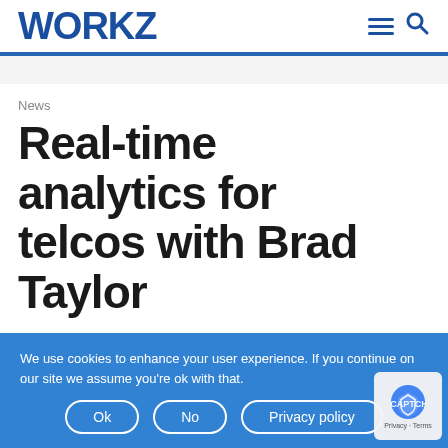WORKZ
News
Real-time analytics for telcos with Brad Taylor
We use cookies to enhance your user experience. If you continue on our site we assume you're ok with that.
Ok
No
Privacy policy